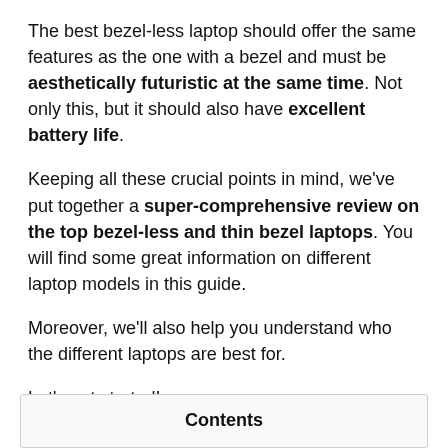The best bezel-less laptop should offer the same features as the one with a bezel and must be aesthetically futuristic at the same time. Not only this, but it should also have excellent battery life.
Keeping all these crucial points in mind, we've put together a super-comprehensive review on the top bezel-less and thin bezel laptops. You will find some great information on different laptop models in this guide.
Moreover, we'll also help you understand who the different laptops are best for.
Let's get started!
| Contents |
| --- |